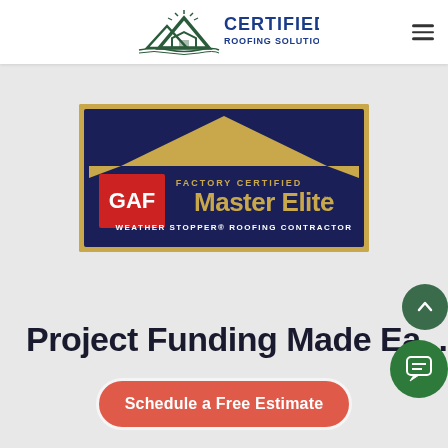[Figure (logo): Certified Roofing Solutions, LLC logo with mountain/house icon and dark blue text]
[Figure (logo): GAF Factory Certified Master Elite Weather Stopper Roofing Contractor badge on dark navy background with gold roof shape]
Project Funding Made Ea...
Schedule a Free Estimate